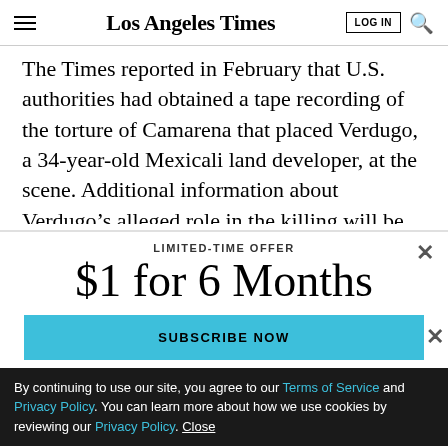Los Angeles Times
The Times reported in February that U.S. authorities had obtained a tape recording of the torture of Camarena that placed Verdugo, a 34-year-old Mexicali land developer, at the scene. Additional information about Verdugo's alleged role in the killing will be presented to Washington D.C. — his letters said in...
LIMITED-TIME OFFER
$1 for 6 Months
SUBSCRIBE NOW
By continuing to use our site, you agree to our Terms of Service and Privacy Policy. You can learn more about how we use cookies by reviewing our Privacy Policy. Close